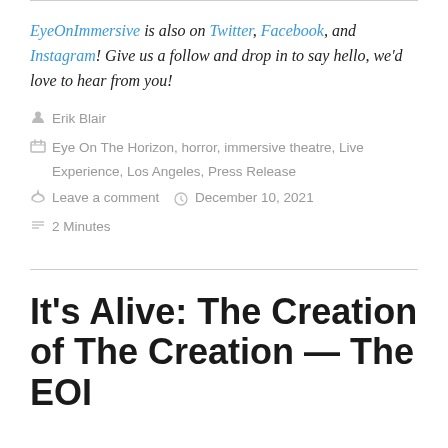EyeOnImmersive is also on Twitter, Facebook, and Instagram! Give us a follow and drop in to say hello, we'd love to hear from you!
Erik Blair
Eye On The Horizon, horror, immersive theatre, Live Experience, Los Angeles, Press Release
Leave a comment   December 10, 2021
2 Minutes
It's Alive: The Creation of The Creation — The EOI